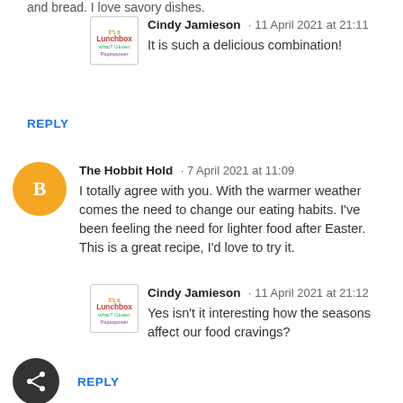and bread. I love savory dishes.
Cindy Jamieson · 11 April 2021 at 21:11
It is such a delicious combination!
REPLY
The Hobbit Hold · 7 April 2021 at 11:09
I totally agree with you. With the warmer weather comes the need to change our eating habits. I've been feeling the need for lighter food after Easter. This is a great recipe, I'd love to try it.
Cindy Jamieson · 11 April 2021 at 21:12
Yes isn't it interesting how the seasons affect our food cravings?
REPLY